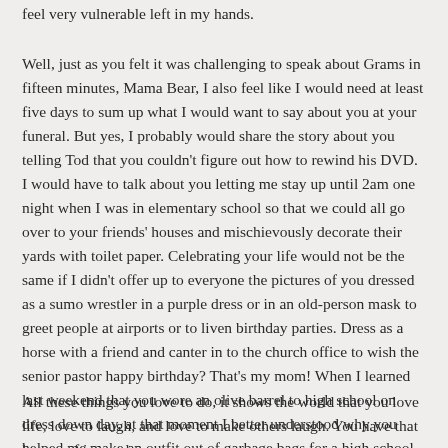feel very vulnerable left in my hands.
Well, just as you felt it was challenging to speak about Grams in fifteen minutes, Mama Bear, I also feel like I would need at least five days to sum up what I would want to say about you at your funeral. But yes, I probably would share the story about you telling Tod that you couldn’t figure out how to rewind his DVD. I would have to talk about you letting me stay up until 2am one night when I was in elementary school so that we could all go over to your friends’ houses and mischievously decorate their yards with toilet paper. Celebrating your life would not be the same if I didn’t offer up to everyone the pictures of you dressed as a sumo wrestler in a purple dress or in an old-person mask to greet people at airports or to liven birthday parties. Dress as a horse with a friend and canter in to the church office to wish the senior pastor happy birthday? That’s my mom! When I learned last weekend that you wore an olive barrel to high school on dress down day, at that moment I better understood why you helped me make an outfit out of garbage bags for a high school dare rather than scoff at the idea. We get each other that way.
All these things you love to do, it shows the world that you love life, love to laugh, and love to make others laugh. You have that legacy of joy and